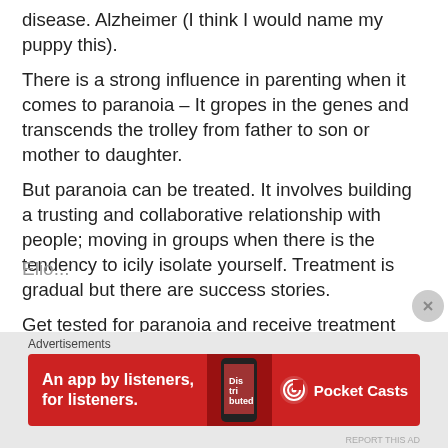disease. Alzheimer (I think I would name my puppy this).
There is a strong influence in parenting when it comes to paranoia – It gropes in the genes and transcends the trolley from father to son or mother to daughter.
But paranoia can be treated. It involves building a trusting and collaborative relationship with people; moving in groups when there is the tendency to icily isolate yourself. Treatment is gradual but there are success stories.
Get tested for paranoia and receive treatment because the world has to be a better place!
Enjoy your day!
Elio…
[Figure (screenshot): Red advertisement banner for Pocket Casts app with text 'An app by listeners, for listeners.' and Pocket Casts logo. Shows a phone image on a dark red background. Label 'Advertisements' appears above.]